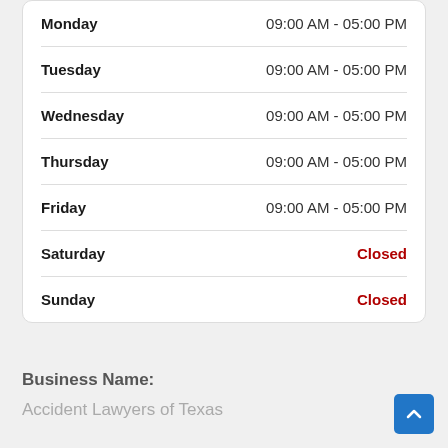| Day | Hours |
| --- | --- |
| Monday | 09:00 AM - 05:00 PM |
| Tuesday | 09:00 AM - 05:00 PM |
| Wednesday | 09:00 AM - 05:00 PM |
| Thursday | 09:00 AM - 05:00 PM |
| Friday | 09:00 AM - 05:00 PM |
| Saturday | Closed |
| Sunday | Closed |
Business Name:
Accident Lawyers of Texas